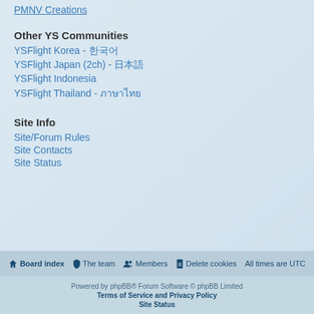PMNV Creations
Other YS Communities
YSFlight Korea - 한국어
YSFlight Japan (2ch) - 日本語
YSFlight Indonesia
YSFlight Thailand - ภาษาไทย
Site Info
Site/Forum Rules
Site Contacts
Site Status
Become a YSFHQ First Class Member! Subscription type First Class Monthly : $4.00 USD - monthly YSFHQ Username Subscribe
Board index  The team  Members  Delete cookies  All times are UTC
Powered by phpBB® Forum Software © phpBB Limited  Terms of Service and Privacy Policy  Site Status